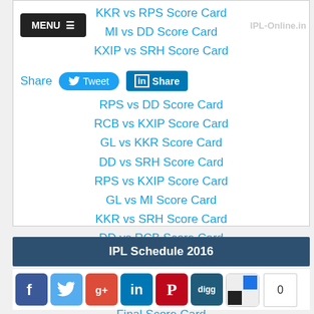MENU
IPL-Online.in
KKR vs RPS Score Card
MI vs DD Score Card
KXIP vs SRH Score Card
Share  Tweet  Share
RPS vs DD Score Card
RCB vs KXIP Score Card
GL vs KKR Score Card
DD vs SRH Score Card
RPS vs KXIP Score Card
GL vs MI Score Card
KKR vs SRH Score Card
DD vs RCB Score Card
Quarter Final 1 Score Card
Eliminator Score Card
Quarter Final 2 Score Card
Final Score Card
IPL Schedule 2016
[Figure (screenshot): Social media share icons: Facebook, Twitter, Google+, LinkedIn, Pinterest, Digg, Delicious with count 0]